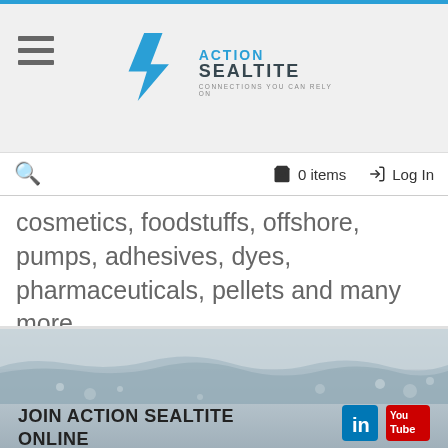[Figure (logo): Action Sealtite logo with blue lightning bolt arrow and text 'ACTION SEALTITE — CONNECTIONS YOU CAN RELY ON']
0 items   Log In
cosmetics, foodstuffs, offshore, pumps, adhesives, dyes, pharmaceuticals, pellets and many more.
[Figure (photo): Water surface photo showing waves and water bubbles/droplets on a grey background]
JOIN ACTION SEALTITE ONLINE
About Action Sealtite
Action Sealtite Support